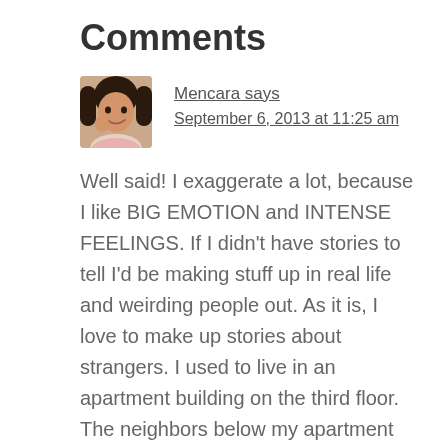Comments
[Figure (photo): Avatar photo of commenter Mencara, a woman with dark hair]
Mencara says
September 6, 2013 at 11:25 am
Well said! I exaggerate a lot, because I like BIG EMOTION and INTENSE FEELINGS. If I didn't have stories to tell I'd be making stuff up in real life and weirding people out. As it is, I love to make up stories about strangers. I used to live in an apartment building on the third floor. The neighbors below my apartment fought all the time but we couldn't make out the words but the fighting at the wall lines and